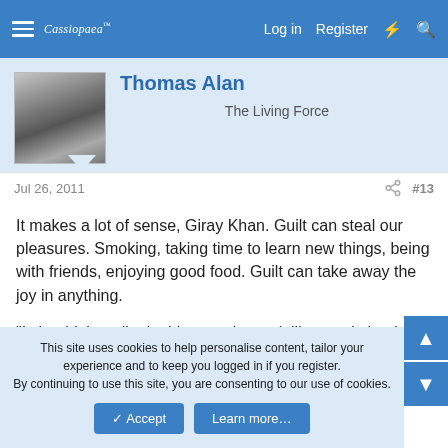Cassiopaea | Log in  Register
Thomas Alan
The Living Force
Jul 26, 2011  #13
It makes a lot of sense, Giray Khan. Guilt can steal our pleasures. Smoking, taking time to learn new things, being with friends, enjoying good food. Guilt can take away the joy in anything.

"I shouldn't really do this, people won't like me, I should be doing other things instead of what I enjoy."
This site uses cookies to help personalise content, tailor your experience and to keep you logged in if you register.
By continuing to use this site, you are consenting to our use of cookies.
✓ Accept  Learn more…